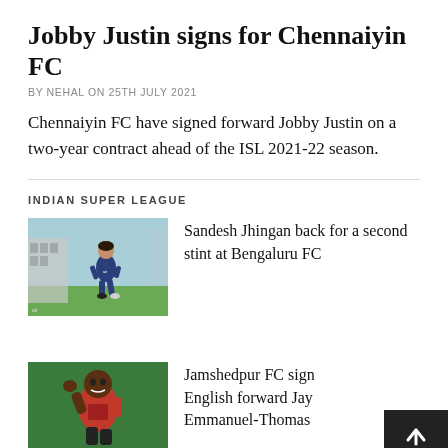Jobby Justin signs for Chennaiyin FC
BY NEHAL ON 25TH JULY 2021
Chennaiyin FC have signed forward Jobby Justin on a two-year contract ahead of the ISL 2021-22 season.
INDIAN SUPER LEAGUE
[Figure (photo): A footballer running on a green pitch, wearing a dark blue jersey, with a building/fence in the background.]
Sandesh Jhingan back for a second stint at Bengaluru FC
[Figure (photo): A dark-skinned male footballer in a red jersey raising his fist in celebration, green background.]
Jamshedpur FC sign English forward Jay Emmanuel-Thomas